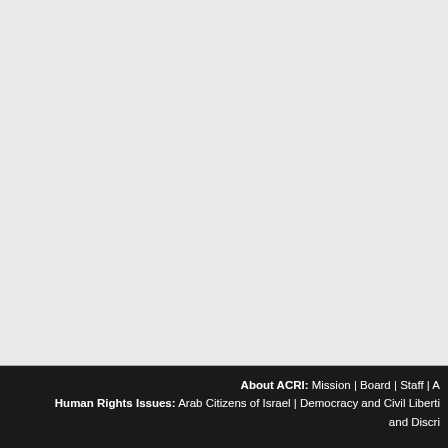[Figure (photo): Large textured light grey background area occupying the upper portion of the page]
About ACRI: Mission | Board | Staff | A... Human Rights Issues: Arab Citizens of Israel | Democracy and Civil Liberties... and Discri...